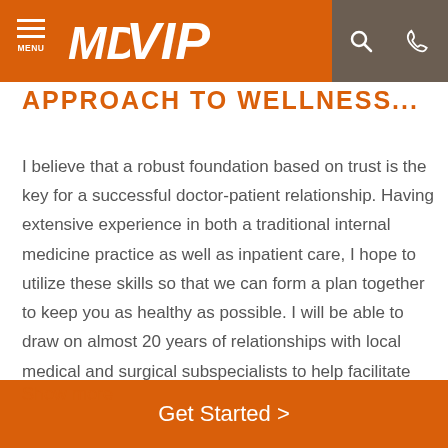MDVIP — navigation header with menu, logo, search, and phone icons
APPROACH TO WELLNESS...
I believe that a robust foundation based on trust is the key for a successful doctor-patient relationship. Having extensive experience in both a traditional internal medicine practice as well as inpatient care, I hope to utilize these skills so that we can form a plan together to keep you as healthy as possible. I will be able to draw on almost 20 years of relationships with local medical and surgical subspecialists to help facilitate any referrals you may need. As an MDVIP-affiliate...
Show more
Get Started >